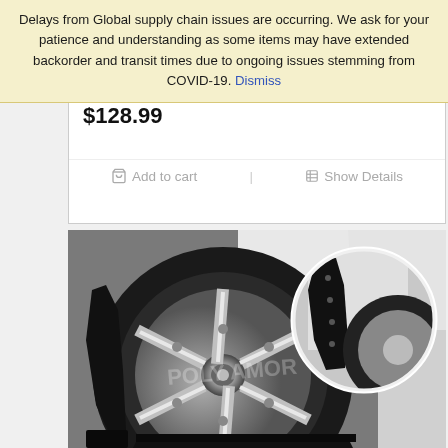Delays from Global supply chain issues are occurring. We ask for your patience and understanding as some items may have extended backorder and transit times due to ongoing issues stemming from COVID-19. Dismiss
$128.99
Add to cart   Show Details
[Figure (photo): Black and white photo showing a car wheel/tire with a black mud flap, with an inset circular close-up of the mud flap attachment detail. Watermark text visible across the image.]